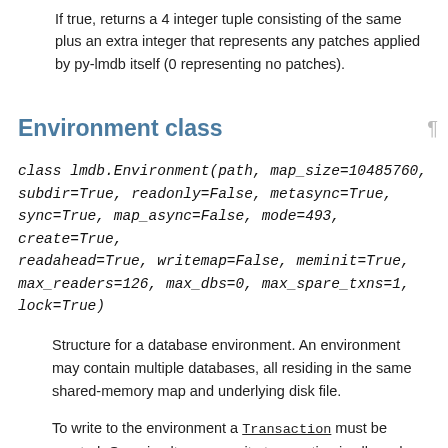If true, returns a 4 integer tuple consisting of the same plus an extra integer that represents any patches applied by py-lmdb itself (0 representing no patches).
Environment class
class lmdb.Environment(path, map_size=10485760, subdir=True, readonly=False, metasync=True, sync=True, map_async=False, mode=493, create=True, readahead=True, writemap=False, meminit=True, max_readers=126, max_dbs=0, max_spare_txns=1, lock=True)
Structure for a database environment. An environment may contain multiple databases, all residing in the same shared-memory map and underlying disk file.
To write to the environment a Transaction must be created. One simultaneous write transaction is allowed, however there is no limit on the number of read transactions even when a write transaction exists.